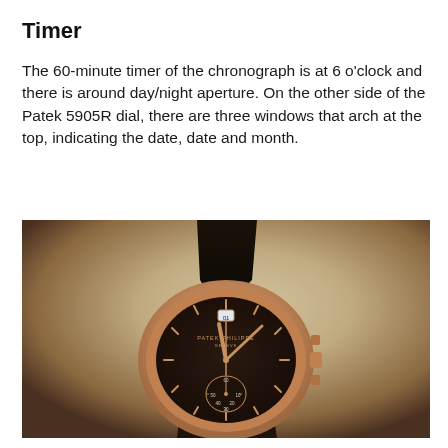Timer
The 60-minute timer of the chronograph is at 6 o'clock and there is around day/night aperture. On the other side of the Patek 5905R dial, there are three windows that arch at the top, indicating the date, date and month.
[Figure (photo): Close-up photograph of a Patek Philippe 5905R rose gold chronograph watch with a dark brown dial, rose gold hands and hour markers, a sub-dial at the bottom showing minutes (10, 20, 30, 40, 50, 60), a date window at 12 o'clock, and a black leather strap. The watch is photographed on a warm beige/tan surface.]